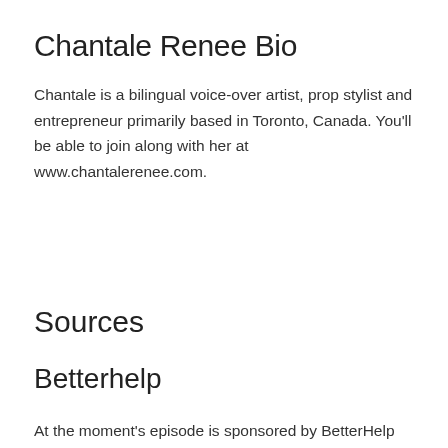Chantale Renee Bio
Chantale is a bilingual voice-over artist, prop stylist and entrepreneur primarily based in Toronto, Canada. You'll be able to join along with her at www.chantalerenee.com.
Sources
Betterhelp
At the moment's episode is sponsored by BetterHelp